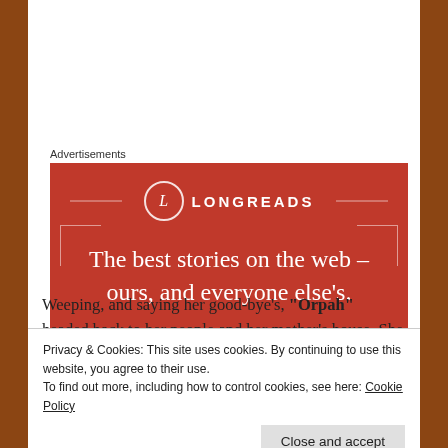Advertisements
[Figure (illustration): Longreads advertisement banner with red background, Longreads logo (circle with L), and tagline: The best stories on the web – ours, and everyone else's.]
Weeping, and saying her good-bye's, “Orpah” headed back to her people and her mother’s house. She
Privacy & Cookies: This site uses cookies. By continuing to use this website, you agree to their use. To find out more, including how to control cookies, see here: Cookie Policy
Close and accept
But Ruth, not seeking to make life easier for herself, could